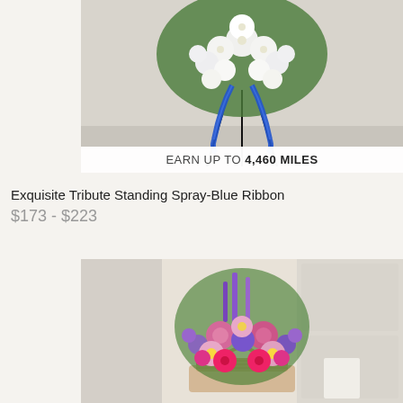[Figure (photo): Floral standing spray arrangement with white flowers and blue ribbon on a metal stand against a white background. A banner overlay reads EARN UP TO 4,460 MILES.]
EARN UP TO 4,460 MILES
Exquisite Tribute Standing Spray-Blue Ribbon
$173 - $223
[Figure (photo): Colorful floral basket arrangement with pink, purple, and magenta flowers including gerbera daisies, roses, carnations, and delphinium in a wicker basket against a white room background.]